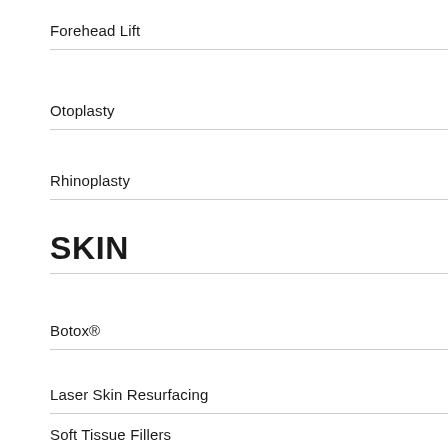Forehead Lift
Otoplasty
Rhinoplasty
SKIN
Botox®
Laser Skin Resurfacing
Soft Tissue Fillers